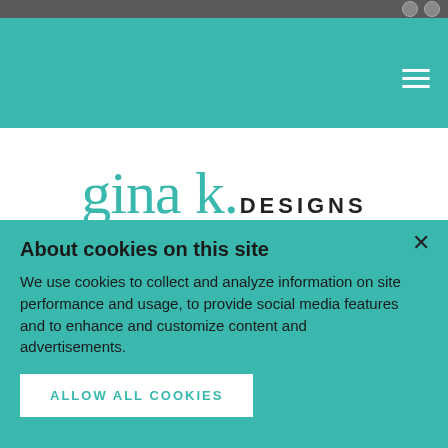[Figure (logo): Gina K. Designs logo — 'gina k.' in large teal lowercase serif font, 'DESIGNS' in dark uppercase sans-serif]
and kindness stamp set. They were designed to help fund the needs of the people in the Bahamas after the recent hurricane that devastated their islands. The idea for this set was conceived by Gina K. and Jennifer McGuire.
About cookies on this site
We use cookies to collect and analyze information on site performance and usage, to provide social media features and to enhance and customize content and advertisements.
ALLOW ALL COOKIES